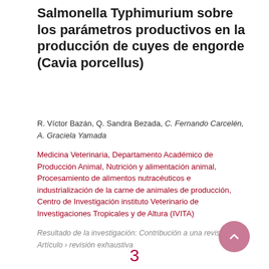Salmonella Typhimurium sobre los parámetros productivos en la producción de cuyes de engorde (Cavia porcellus)
R. Víctor Bazán, Q. Sandra Bezada, C. Fernando Carcelén, A. Graciela Yamada
Medicina Veterinaria, Departamento Académico de Producción Animal, Nutrición y alimentación animal, Procesamiento de alimentos nutracéuticos e industrialización de la carne de animales de producción, Centro de Investigación instituto Veterinario de Investigaciones Tropicales y de Altura (IVITA)
Resultado de la investigación: Contribución a una revista › Artículo › revisión exhaustiva
3